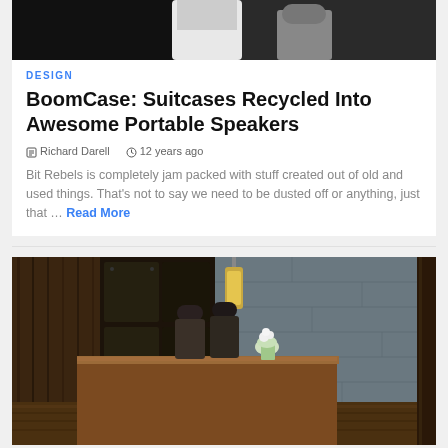[Figure (photo): Top partial photo showing two people, dark background, one in white top]
DESIGN
BoomCase: Suitcases Recycled Into Awesome Portable Speakers
✎ Richard Darell   🕐 12 years ago
Bit Rebels is completely jam packed with stuff created out of old and used things. That's not to say we need to be dusted off or anything, just that … Read More
[Figure (photo): Hotel lobby interior with wooden reception desk, two staff members, stone/concrete walls, pendant light, and wooden flooring]